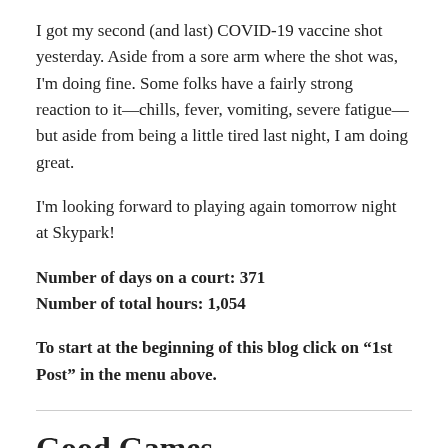I got my second (and last) COVID-19 vaccine shot yesterday. Aside from a sore arm where the shot was, I'm doing fine. Some folks have a fairly strong reaction to it—chills, fever, vomiting, severe fatigue—but aside from being a little tired last night, I am doing great.

I'm looking forward to playing again tomorrow night at Skypark!
Number of days on a court: 371
Number of total hours: 1,054
To start at the beginning of this blog click on “1st Post” in the menu above.
Good Games